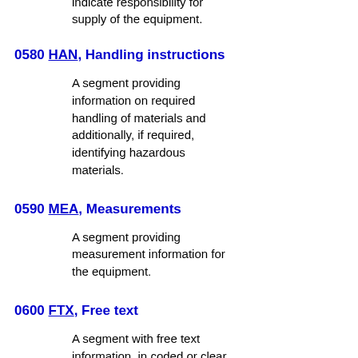conjunction with the whole order, and if required, to indicate responsibility for supply of the equipment.
0580 HAN, Handling instructions
A segment providing information on required handling of materials and additionally, if required, identifying hazardous materials.
0590 MEA, Measurements
A segment providing measurement information for the equipment.
0600 FTX, Free text
A segment with free text information, in coded or clear